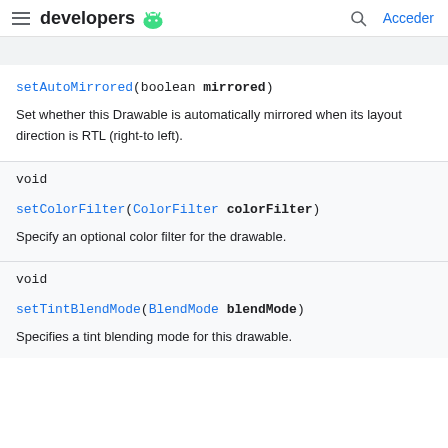developers [android logo] | [search] Acceder
setAutoMirrored(boolean mirrored)
Set whether this Drawable is automatically mirrored when its layout direction is RTL (right-to left).
void
setColorFilter(ColorFilter colorFilter)
Specify an optional color filter for the drawable.
void
setTintBlendMode(BlendMode blendMode)
Specifies a tint blending mode for this drawable.